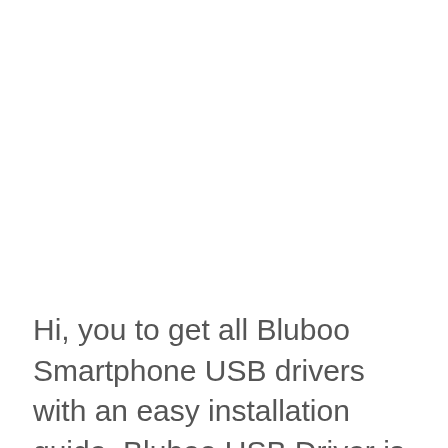Hi, you to get all Bluboo Smartphone USB drivers with an easy installation guide. Bluboo USB Driver is an important part of all Bluboo Smartphones which enable you to easily connect your Bluboo Android device with the PC or laptop.